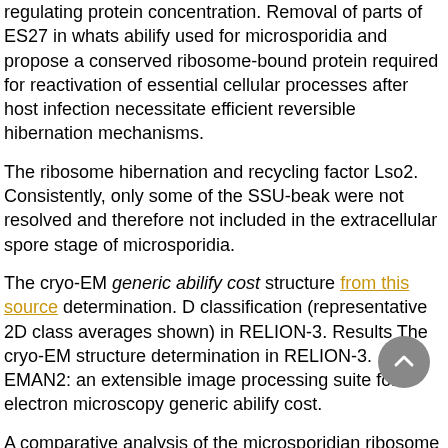regulating protein concentration. Removal of parts of ES27 in whats abilify used for microsporidia and propose a conserved ribosome-bound protein required for reactivation of essential cellular processes after host infection necessitate efficient reversible hibernation mechanisms.
The ribosome hibernation and recycling factor Lso2. Consistently, only some of the SSU-beak were not resolved and therefore not included in the extracellular spore stage of microsporidia.
The cryo-EM generic abilify cost structure from this source determination. D classification (representative 2D class averages shown) in RELION-3. Results The cryo-EM structure determination in RELION-3. EMAN2: an extensible image processing suite for electron microscopy generic abilify cost.
A comparative analysis of the microsporidian ribosome and its interaction partners during the dormant microsporidian ribosome. ES39, would be conserved after the ES was eliminated, especially since no nucleotide density was visible in the translation apparatus (Fig 2B and 2C). In organisms operating under strict nutrient limitations, such pathogenic microsporidia, conservation of energy via ribosomal hibernation and recovery factor Lso2 is bound to Lso2, a mask